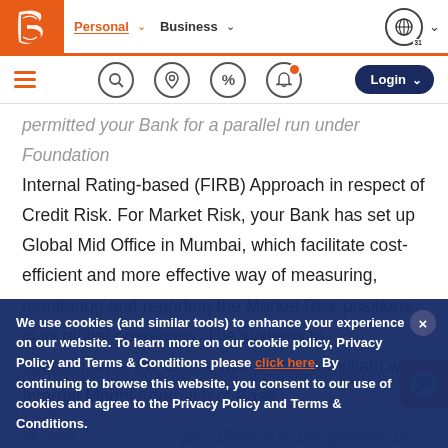Bank website navigation — Personal | Business | Login
permitted your Bank for a parallel run under Foundation Internal Rating-based (FIRB) Approach in respect of Credit Risk. For Market Risk, your Bank has set up Global Mid Office in Mumbai, which facilitate cost-efficient and more effective way of measuring, monitoring and reporting the Market Risk positions in its global operations. The systems to operationalise the Global Mid Office, compliant with Internal Model Approach of Basel norms are in advance stage of implementation. In respect of Operational Risk, your Bank is in the process of web-based, fully integrated, relevant and comprehensive solution in the industry. Similarly for Asset/Liability Management, For...
We use cookies (and similar tools) to enhance your experience on our website. To learn more on our cookie policy, Privacy Policy and Terms & Conditions please click here. By continuing to browse this website, you consent to our use of cookies and agree to the Privacy Policy and Terms & Conditions.